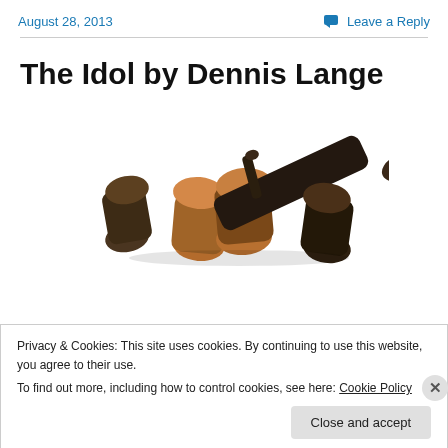August 28, 2013   Leave a Reply
The Idol by Dennis Lange
[Figure (photo): A pile of dark wooden logs/sticks cut at various angles, some showing light-colored wood grain at the ends, against a white background.]
Privacy & Cookies: This site uses cookies. By continuing to use this website, you agree to their use.
To find out more, including how to control cookies, see here: Cookie Policy
Close and accept